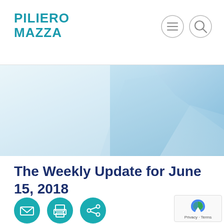[Figure (logo): Piliero Mazza law firm logo in teal/cyan text]
[Figure (screenshot): Navigation icons: hamburger menu and search circle buttons]
[Figure (illustration): Abstract hero banner with light blue and white gradient geometric shapes]
The Weekly Update for June 15, 2018
[Figure (infographic): Three teal circular social sharing icons: email, print/save, and share]